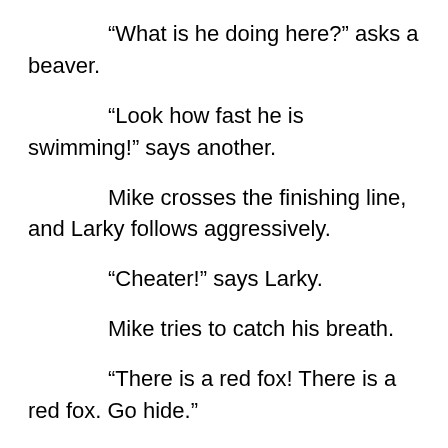“What is he doing here?” asks a beaver.
“Look how fast he is swimming!” says another.
Mike crosses the finishing line, and Larky follows aggressively.
“Cheater!” says Larky.
Mike tries to catch his breath.
“There is a red fox! There is a red fox. Go hide.”
The beavers finally see the red fox, and